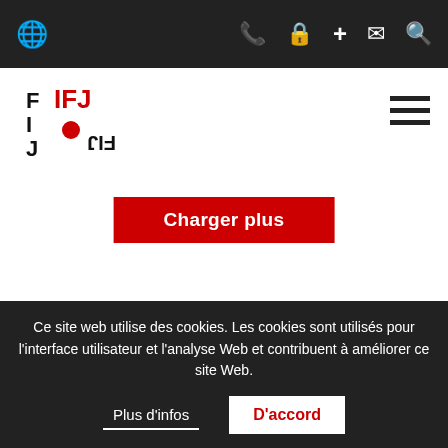IFJ navigation bar with phone, lock, add, mail, search icons
[Figure (logo): IFJ / FIP logo with red dot]
Charger plus
Activités
Libérez Assange maintenant !
Yemen: 4 journalists on death row
Harcèlement en ligne: Tu n'es PAS seule
Ce site web utilise des cookies. Les cookies sont utilisés pour l'interface utilisateur et l'analyse Web et contribuent à améliorer ce site Web.
Plus d'infos
D'accord